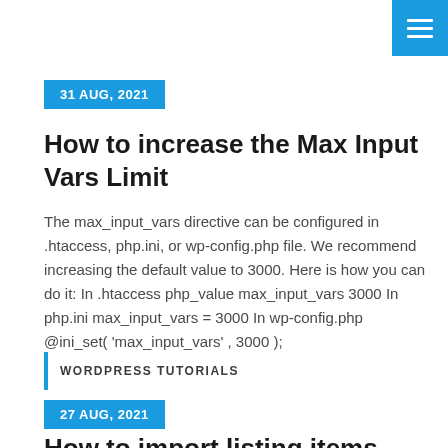[Figure (other): Blue hamburger menu button in top-right corner]
31 AUG, 2021
How to increase the Max Input Vars Limit
The max_input_vars directive can be configured in .htaccess, php.ini, or wp-config.php file. We recommend increasing the default value to 3000. Here is how you can do it: In .htaccess php_value max_input_vars 3000 In php.ini max_input_vars = 3000 In wp-config.php @ini_set( 'max_input_vars' , 3000 );
WORDPRESS TUTORIALS
27 AUG, 2021
How to import listing items from CSV